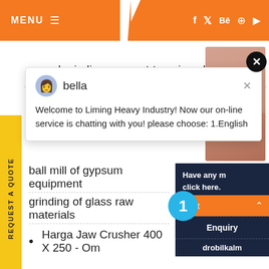[Figure (screenshot): Website header with orange MENU button on left, social media icons (f, Twitter, Be, Pinterest, YouTube) on right orange area]
and grinding copper trturacion photos
perlite insulation perlite
[Figure (screenshot): Chat popup with avatar of bella, message: Welcome to Liming Heavy Industry! Now our on-line service is chatting with you! please choose: 1.English]
ball mill of gypsum equipment
grinding of glass raw materials
Harga Jaw Crusher 400 X 250 - Om
[Figure (screenshot): Right sidebar panel with Have any / click here., Quota button, Enquiry, drobilkalm sections and notification badge showing 1]
[Figure (screenshot): Yellow vertical side tab reading REQUEST A QUOTE]